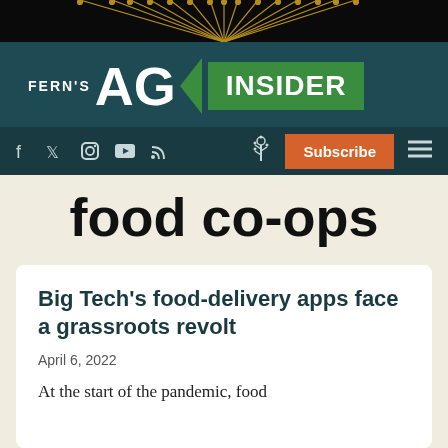[Figure (logo): Fern's AG Insider website header with dark teal background, radiating gold lines on black top strip, FERN'S AG INSIDER logo, social media icons (Facebook, Twitter, Instagram, YouTube, RSS), tree icon, orange Subscribe button, and hamburger menu]
food co-ops
Big Tech's food-delivery apps face a grassroots revolt
April 6, 2022
At the start of the pandemic, food